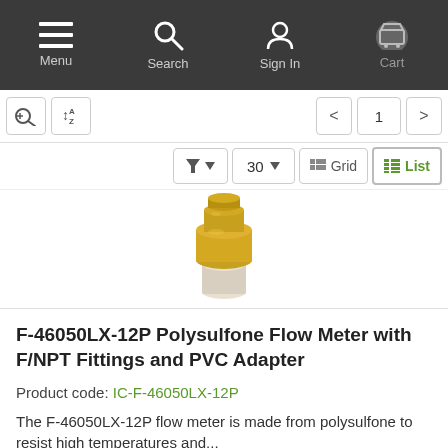Menu | Search | Sign In | Cart
[Figure (screenshot): Website navigation toolbar with sort/filter buttons, page number 1, and Grid/List view toggles showing 30 items]
[Figure (photo): Photo of F-46050LX-12P Polysulfone Flow Meter product - a brass and white plastic fitting component on white background]
F-46050LX-12P Polysulfone Flow Meter with F/NPT Fittings and PVC Adapter
Product code: IC-F-46050LX-12P
The F-46050LX-12P flow meter is made from polysulfone to resist high temperatures and...